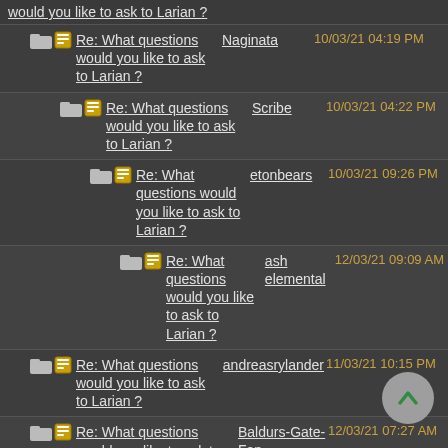would you like to ask to Larian ?
Re: What questions would you like to ask to Larian ? — Naginata — 10/03/21 04:19 PM
Re: What questions would you like to ask to Larian ? — Scribe — 10/03/21 04:22 PM
Re: What questions would you like to ask to Larian ? — etonbears — 10/03/21 09:26 PM
Re: What questions would you like to ask to Larian ? — ash elemental — 12/03/21 09:09 AM
Re: What questions would you like to ask to Larian ? — andreasrylander — 11/03/21 10:15 PM
Re: What questions would you like to ask to Larian ? — Baldurs-Gate-Fan — 12/03/21 07:27 AM
Re: What questions would you like to ask to Larian ? — Elessaria666 — 14/03/21 01:16 AM